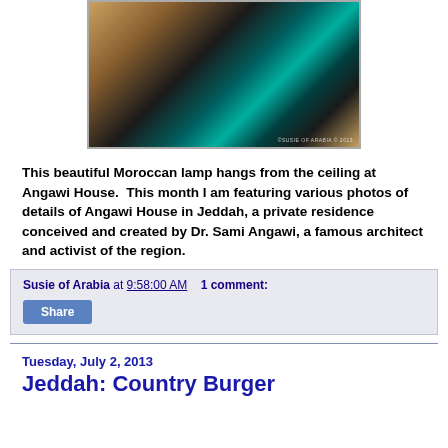[Figure (photo): A decorative Moroccan lamp photographed from below, showing intricate metalwork with teal/turquoise glass inlays, hanging from a wooden ceiling. Watermark reads '©SUSIE OF ARABIA © 2013'.]
This beautiful Moroccan lamp hangs from the ceiling at Angawi House.  This month I am featuring various photos of details of Angawi House in Jeddah, a private residence conceived and created by Dr. Sami Angawi, a famous architect and activist of the region.
Susie of Arabia at 9:58:00 AM    1 comment:
Share
Tuesday, July 2, 2013
Jeddah: Country Burger